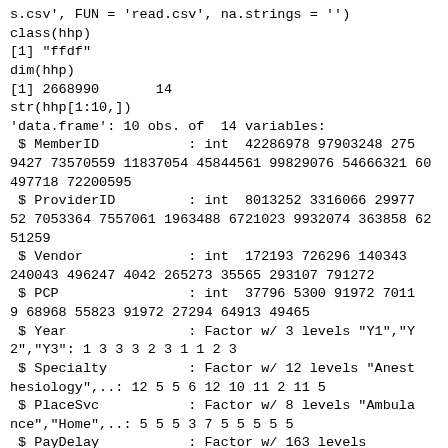s.csv', FUN = 'read.csv', na.strings = '')
class(hhp)
[1] "ffdf"
dim(hhp)
[1] 2668990       14
str(hhp[1:10,])
'data.frame': 10 obs. of  14 variables:
 $ MemberID           : int  42286978 97903248 275
9427 73570559 11837054 45844561 99829076 54666321 60
497718 72200595
 $ ProviderID         : int  8013252 3316066 29977
52 7053364 7557061 1963488 6721023 9932074 363858 62
51259
 $ Vendor             : int  172193 726296 140343
240043 496247 4042 265273 35565 293107 791272
 $ PCP                : int  37796 5300 91972 7011
9 68968 55823 91972 27294 64913 49465
 $ Year               : Factor w/ 3 levels "Y1","Y
2","Y3": 1 3 3 3 2 3 1 1 2 3
 $ Specialty          : Factor w/ 12 levels "Anest
hesiology",..: 12 5 5 6 12 10 11 2 11 5
 $ PlaceSvc           : Factor w/ 8 levels "Ambula
nce","Home",..: 5 5 5 3 7 5 5 5 5 5
 $ PayDelay           : Factor w/ 163 levels
"0","10","101",..: 52 76 29 48 51 49 40 53 67 82
 $ LengthOfStay       : Factor w/ 10 levels "1 da...